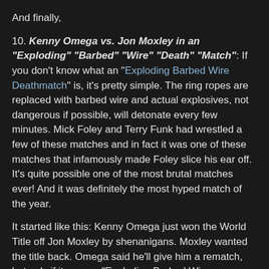And finally,
10. Kenny Omega vs. Jon Moxley in an "Exploding" "Barbed" "Wire" "Death" "Match": If you don't know what an "Exploding Barbed Wire Deathmatch" is, it's pretty simple. The ring ropes are replaced with barbed wire and actual explosives, not dangerous if possible, will detonate every few minutes. Mick Foley and Terry Funk had wrestled a few of these matches and in fact it was one of these matches that infamously made Foley slice his ear off. It's quite possible one of the most brutal matches ever! And it was definitely the most hyped match of the year.
It started like this: Kenny Omega just won the World Title off Jon Moxley by shenanigans. Moxley wanted the title back. Omega said he'll give him a rematch, but only if it was an "Exploding Barbed Wire Deathmatch".
The AEW fans were literally drooling over the place. Omega has had great matches and is nicknamed "The Best Bout Machine". Moxley had past expertise in deathmatches. This